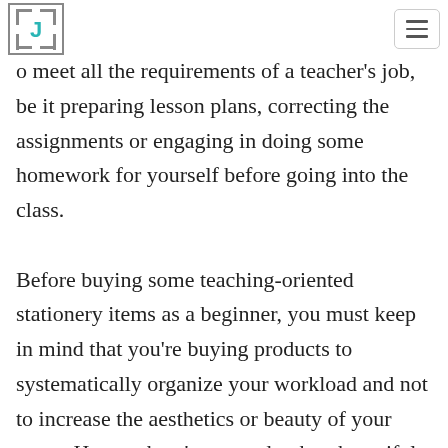J [logo] [hamburger menu]
o meet all the requirements of a teacher's job, be it preparing lesson plans, correcting the assignments or engaging in doing some homework for yourself before going into the class. Before buying some teaching-oriented stationery items as a beginner, you must keep in mind that you're buying products to systematically organize your workload and not to increase the aesthetics or beauty of your room. Hence, there's no need to buy beautiful, fancy or sparkling products which will cost you your